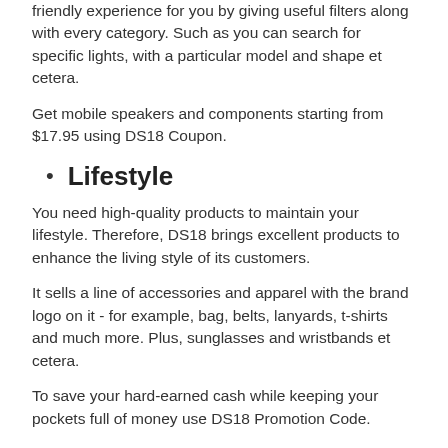friendly experience for you by giving useful filters along with every category. Such as you can search for specific lights, with a particular model and shape et cetera.
Get mobile speakers and components starting from $17.95 using DS18 Coupon.
Lifestyle
You need high-quality products to maintain your lifestyle. Therefore, DS18 brings excellent products to enhance the living style of its customers.
It sells a line of accessories and apparel with the brand logo on it - for example, bag, belts, lanyards, t-shirts and much more. Plus, sunglasses and wristbands et cetera.
To save your hard-earned cash while keeping your pockets full of money use DS18 Promotion Code.
Besides the regular use products, there is another category of professional products, i.e. Aux to RCA cables, aux to dual and more.
Does DS18 offer